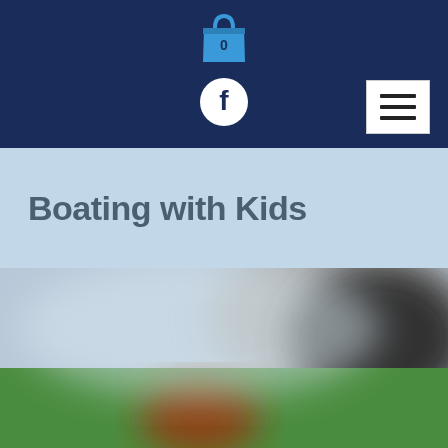[Figure (screenshot): Website header with dark navy background containing a shopping cart icon with badge showing 0, a Facebook icon circle, and a hamburger menu button on the right]
Boating with Kids
[Figure (photo): Blurred outdoor photo showing a child on a boat or green grass area, with sky/water background. The image is heavily blurred/privacy-redacted.]